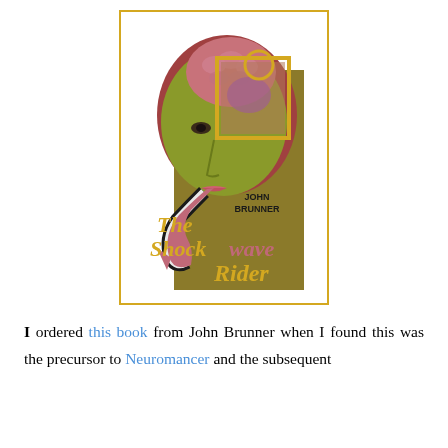[Figure (illustration): Book cover of 'The Shockwave Rider' by John Brunner. Features a stylized illustration of a bald human head in olive-green tones with a brain visible at the top surrounded by a reddish-brown outline. A golden rectangle overlaps the upper right of the head. A pink/mauve serpentine tongue or cable extends from the mouth downward and to the left with an arrow tip. The title 'The Shockwave Rider' is printed in bold gold/yellow lettering at the bottom, and 'JOHN BRUNNER' appears in black text on the right side.]
I ordered this book from John Brunner when I found this was the precursor to Neuromancer and the subsequent